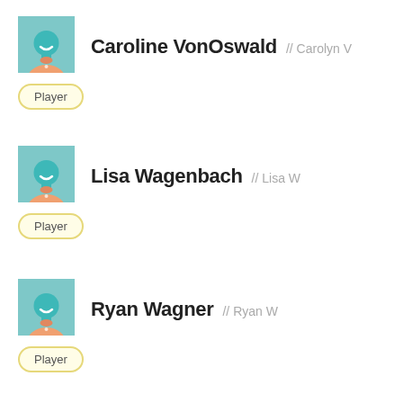[Figure (illustration): Avatar icon of a player with teal head and orange jersey, Caroline VonOswald]
Caroline VonOswald // Carolyn V
Player
[Figure (illustration): Avatar icon of a player with teal head and orange jersey, Lisa Wagenbach]
Lisa Wagenbach // Lisa W
Player
[Figure (illustration): Avatar icon of a player with teal head and orange jersey, Ryan Wagner]
Ryan Wagner // Ryan W
Player